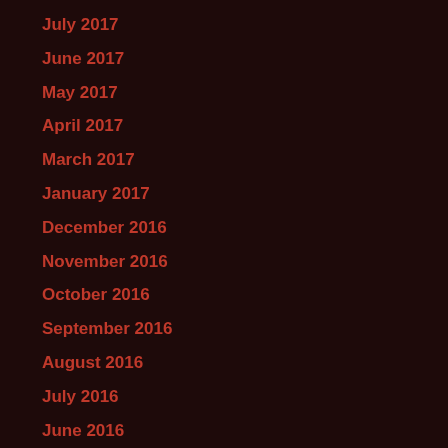July 2017
June 2017
May 2017
April 2017
March 2017
January 2017
December 2016
November 2016
October 2016
September 2016
August 2016
July 2016
June 2016
May 2016
April 2016